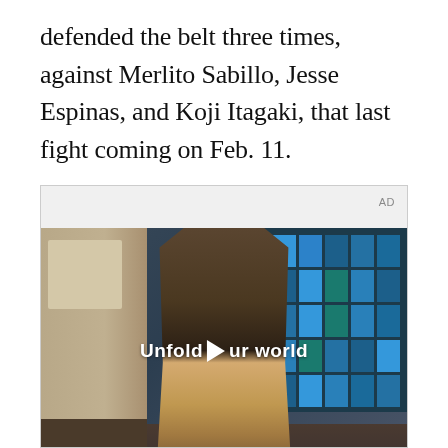defended the belt three times, against Merlito Sabillo, Jesse Espinas, and Koji Itagaki, that last fight coming on Feb. 11.
[Figure (screenshot): Advertisement banner showing a Samsung 'Unfold your world' video ad with a young man in a denim jacket walking through a cafeteria, with a blue tile grid wall in the background. A play button is overlaid on the video. The Samsung logo and AD label are visible.]